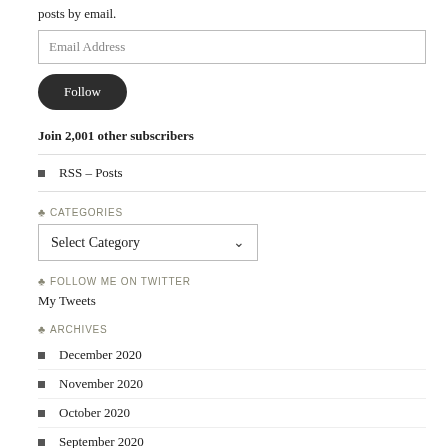posts by email.
Email Address
Follow
Join 2,001 other subscribers
RSS – Posts
CATEGORIES
Select Category
FOLLOW ME ON TWITTER
My Tweets
ARCHIVES
December 2020
November 2020
October 2020
September 2020